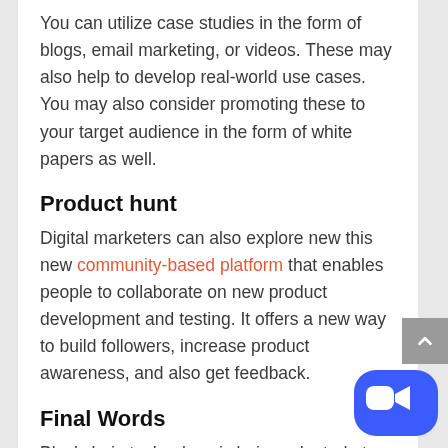You can utilize case studies in the form of blogs, email marketing, or videos. These may also help to develop real-world use cases. You may also consider promoting these to your target audience in the form of white papers as well.
Product hunt
Digital marketers can also explore new this new community-based platform that enables people to collaborate on new product development and testing. It offers a new way to build followers, increase product awareness, and also get feedback.
Final Words
Blockchain technology is being adopted at an